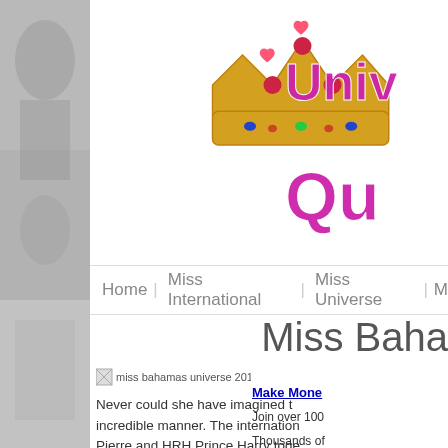[Figure (illustration): Decorative left side strip with grayscale photo collage background]
[Figure (logo): Universe Queens website logo with golden crown and pink/purple stylized text reading Univ... Qu...]
Home | Miss International | Miss Universe | M...
Miss Baha...
Make Mone... Join over 100... Thousands of...
[Figure (photo): miss bahamas universe 2011 a... (broken/placeholder image)]
Never could she have imagined t... incredible manner. The internation... Pierre and HRH Prince Harry toge... their wish during a private lunche... and Miss World Bahamas Sasha J...
Cameras flashed as if it wore...